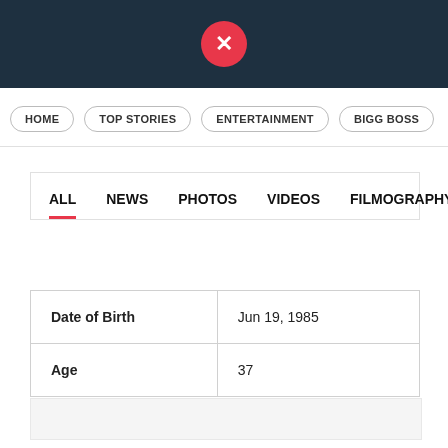X logo / header icon
HOME
TOP STORIES
ENTERTAINMENT
BIGG BOSS
| ALL | NEWS | PHOTOS | VIDEOS | FILMOGRAPHY |
| --- | --- | --- | --- | --- |
| Field | Value |
| --- | --- |
| Date of Birth | Jun 19, 1985 |
| Age | 37 |